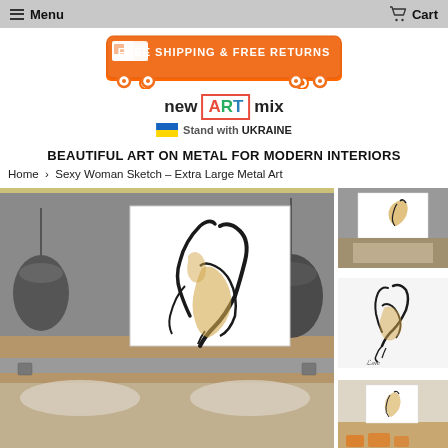Menu   Cart
[Figure (illustration): Orange truck banner with text FREE SHIPPING & FREE RETURNS]
[Figure (logo): new ART mix logo with Ukraine flag and Stand with UKRAINE text]
BEAUTIFUL ART ON METAL FOR MODERN INTERIORS
Home › Sexy Woman Sketch – Extra Large Metal Art
[Figure (photo): Main product image: bedroom scene with sexy woman sketch metal art print hanging above bed with pendant lights]
[Figure (photo): Thumbnail 1: bedroom scene with metal art]
[Figure (photo): Thumbnail 2: close-up of sexy woman sketch artwork]
[Figure (photo): Thumbnail 3: living room scene with metal art on wall]